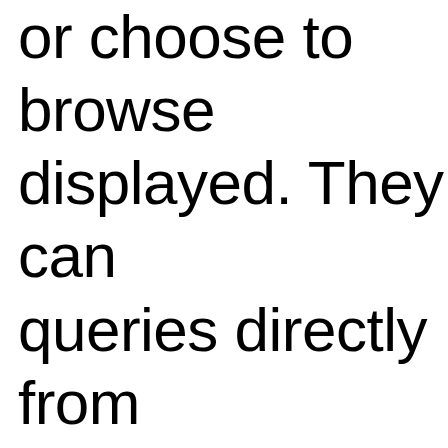or choose to browse displayed. They can queries directly from to NSU Art Museum department. The Mu curatorial staff will c entries to the online catalogue over the n